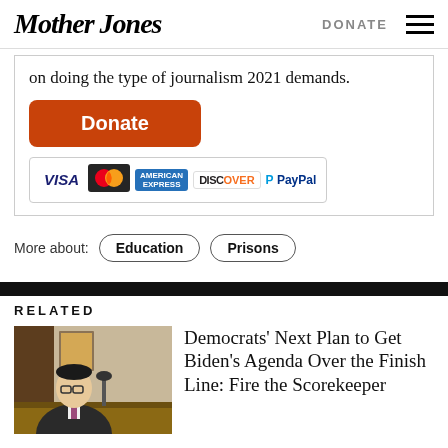Mother Jones | DONATE
on doing the type of journalism 2021 demands.
[Figure (other): Orange Donate button followed by payment method icons: VISA, MasterCard, American Express, Discover, PayPal]
More about: Education Prisons
RELATED
[Figure (photo): Man in suit and glasses sitting at a table, appearing to speak at a hearing]
Democrats' Next Plan to Get Biden's Agenda Over the Finish Line: Fire the Scorekeeper